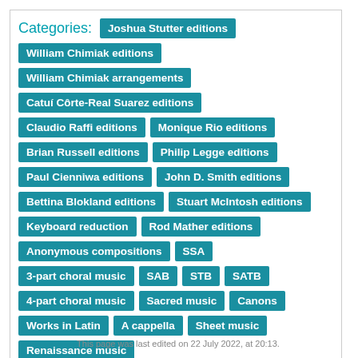Categories: Joshua Stutter editions
William Chimiak editions
William Chimiak arrangements
Catuí Côrte-Real Suarez editions
Claudio Raffi editions | Monique Rio editions
Brian Russell editions | Philip Legge editions
Paul Cienniwa editions | John D. Smith editions
Bettina Blokland editions | Stuart McIntosh editions
Keyboard reduction | Rod Mather editions
Anonymous compositions | SSA
3-part choral music | SAB | STB | SATB
4-part choral music | Sacred music | Canons
Works in Latin | A cappella | Sheet music
Renaissance music
This page was last edited on 22 July 2022, at 20:13.